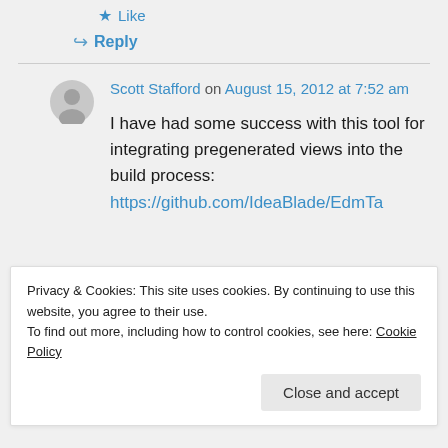★ Like
↪ Reply
Scott Stafford on August 15, 2012 at 7:52 am
I have had some success with this tool for integrating pregenerated views into the build process: https://github.com/IdeaBlade/EdmTa
Privacy & Cookies: This site uses cookies. By continuing to use this website, you agree to their use.
To find out more, including how to control cookies, see here: Cookie Policy
Close and accept